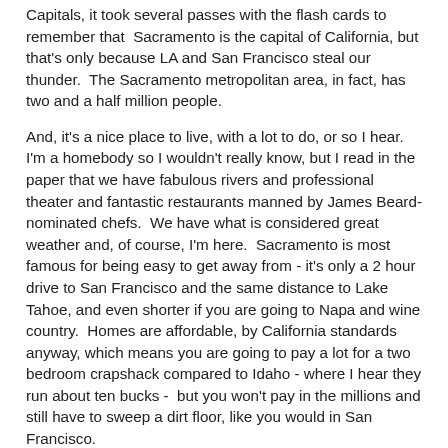Capitals, it took several passes with the flash cards to remember that  Sacramento is the capital of California, but that's only because LA and San Francisco steal our thunder.  The Sacramento metropolitan area, in fact, has two and a half million people.
And, it's a nice place to live, with a lot to do, or so I hear. I'm a homebody so I wouldn't really know, but I read in the paper that we have fabulous rivers and professional theater and fantastic restaurants manned by James Beard-nominated chefs.  We have what is considered great weather and, of course, I'm here.  Sacramento is most famous for being easy to get away from - it's only a 2 hour drive to San Francisco and the same distance to Lake Tahoe, and even shorter if you are going to Napa and wine country.  Homes are affordable, by California standards anyway, which means you are going to pay a lot for a two bedroom crapshack compared to Idaho - where I hear they run about ten bucks -  but you won't pay in the millions and still have to sweep a dirt floor, like you would in San Francisco.
We also have more than one well-respected cancer and